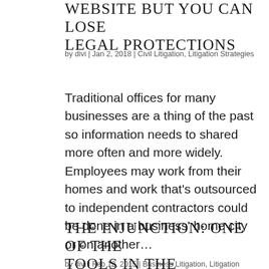Website But You Can Lose Legal Protections
by divi | Jan 2, 2018 | Civil Litigation, Litigation Strategies
Traditional offices for many businesses are a thing of the past so information needs to shared more often and more widely. Employees may work from their homes and work that’s outsourced to independent contractors could be done in a business’ home city or on another…
The Injunction: One of the Tools in the Litigator’s Toolbox
by divi | Feb 12, 2015 | Business Litigation, Litigation Strategies,